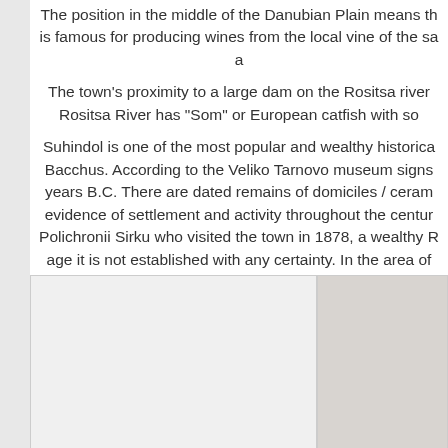The position in the middle of the Danubian Plain means th is famous for producing wines from the local vine of the sa a
The town's proximity to a large dam on the Rositsa river Rositsa River has "Som" or European catfish with so
Suhindol is one of the most popular and wealthy historica Bacchus. According to the Veliko Tarnovo museum signs years B.C. There are dated remains of domiciles / ceram evidence of settlement and activity throughout the centur Polichronii Sirku who visited the town in 1878, a wealthy R age it is not established with any certainty. In the area of neighborhood of "Drachevo" a medieval fort k
[Figure (photo): Two photographs side by side: left photo appears mostly light/white, right photo shows a partial interior scene with dark elements visible.]